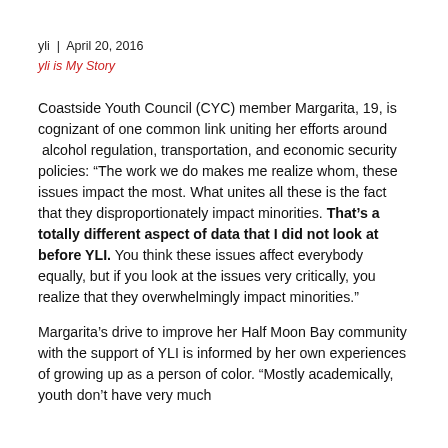yli  |  April 20, 2016
yli is My Story
Coastside Youth Council (CYC) member Margarita, 19, is cognizant of one common link uniting her efforts around  alcohol regulation, transportation, and economic security policies: “The work we do makes me realize whom, these issues impact the most. What unites all these is the fact that they disproportionately impact minorities. That’s a totally different aspect of data that I did not look at before YLI. You think these issues affect everybody equally, but if you look at the issues very critically, you realize that they overwhelmingly impact minorities.”
Margarita’s drive to improve her Half Moon Bay community with the support of YLI is informed by her own experiences of growing up as a person of color. “Mostly academically, youth don’t have very much